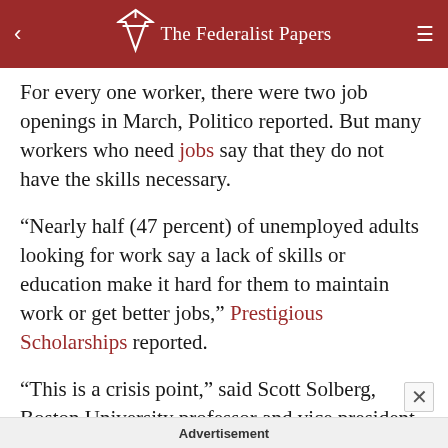The Federalist Papers
For every one worker, there were two job openings in March, Politico reported. But many workers who need jobs say that they do not have the skills necessary.
“Nearly half (47 percent) of unemployed adults looking for work say a lack of skills or education make it hard for them to maintain work or get better jobs,” Prestigious Scholarships reported.
“This is a crisis point,” said Scott Solberg, Boston University professor and vice president of research for the Coalition for Career Development Center. “We have to have a national conversation about how we’re going to elevate career readiness, because it’s all about economic
Advertisement